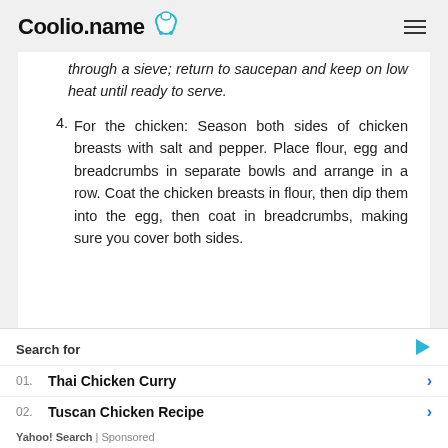Coolio.name
through a sieve; return to saucepan and keep on low heat until ready to serve.
4. For the chicken: Season both sides of chicken breasts with salt and pepper. Place flour, egg and breadcrumbs in separate bowls and arrange in a row. Coat the chicken breasts in flour, then dip them into the egg, then coat in breadcrumbs, making sure you cover both sides.
Search for
01. Thai Chicken Curry
02. Tuscan Chicken Recipe
Yahoo! Search | Sponsored